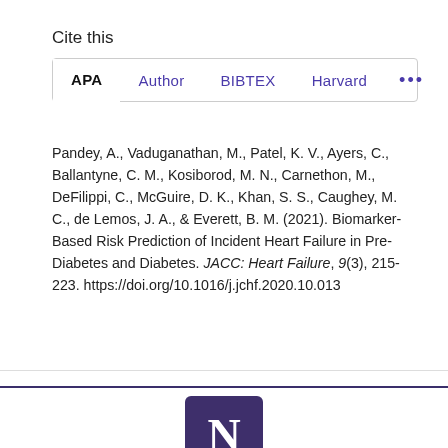Cite this
APA | Author | BIBTEX | Harvard | ...
Pandey, A., Vaduganathan, M., Patel, K. V., Ayers, C., Ballantyne, C. M., Kosiborod, M. N., Carnethon, M., DeFilippi, C., McGuire, D. K., Khan, S. S., Caughey, M. C., de Lemos, J. A., & Everett, B. M. (2021). Biomarker-Based Risk Prediction of Incident Heart Failure in Pre-Diabetes and Diabetes. JACC: Heart Failure, 9(3), 215-223. https://doi.org/10.1016/j.jchf.2020.10.013
[Figure (logo): Northwestern University N logo — white serif N on dark purple rounded square background]